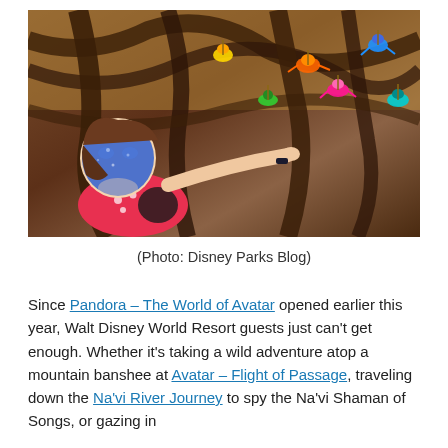[Figure (photo): A young girl with blue face paint pointing at colorful bird figurines hanging from tree branches, resembling Na'vi from Avatar. She wears a pink polka-dot top.]
(Photo: Disney Parks Blog)
Since Pandora – The World of Avatar opened earlier this year, Walt Disney World Resort guests just can't get enough. Whether it's taking a wild adventure atop a mountain banshee at Avatar – Flight of Passage, traveling down the Na'vi River Journey to spy the Na'vi Shaman of Songs, or gazing in